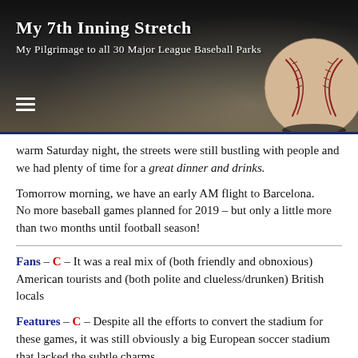[Figure (photo): Website header banner for 'My 7th Inning Stretch' blog showing a baseball on a dark background with a hamburger menu icon]
My 7th Inning Stretch
My Pilgrimage to all 30 Major League Baseball Parks
warm Saturday night, the streets were still bustling with people and we had plenty of time for a great dinner and drinks.
Tomorrow morning, we have an early AM flight to Barcelona.
No more baseball games planned for 2019 – but only a little more than two months until football season!
Fans – C – It was a real mix of (both friendly and obnoxious) American tourists and (both polite and clueless/drunken) British locals
Features – C – Despite all the efforts to convert the stadium for these games, it was still obviously a big European soccer stadium that lacked the subtle charms